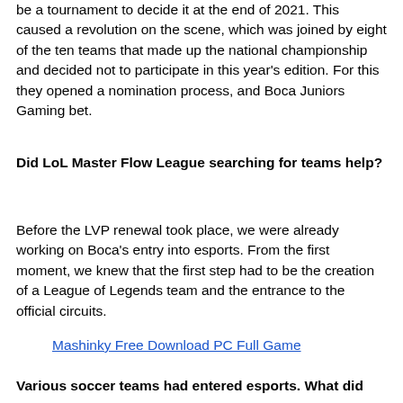be a tournament to decide it at the end of 2021. This caused a revolution on the scene, which was joined by eight of the ten teams that made up the national championship and decided not to participate in this year's edition. For this they opened a nomination process, and Boca Juniors Gaming bet.
Did LoL Master Flow League searching for teams help?
Before the LVP renewal took place, we were already working on Boca's entry into esports. From the first moment, we knew that the first step had to be the creation of a League of Legends team and the entrance to the official circuits.
Mashinky Free Download PC Full Game
Various soccer teams had entered esports. What did